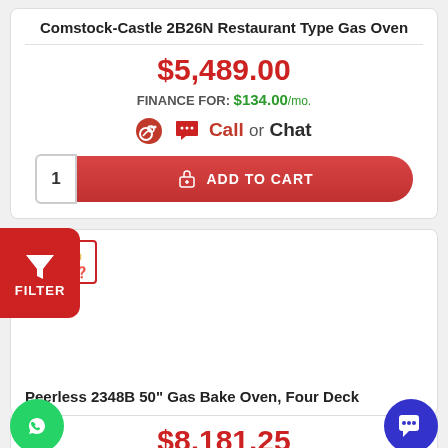Comstock-Castle 2B26N Restaurant Type Gas Oven
$5,489.00
FINANCE FOR: $134.00/mo.
Call or Chat
1  ADD TO CART
[Figure (infographic): Red filter button with funnel icon and FILTER label]
[Figure (infographic): Price Match badge with lock icon]
Peerless 2348B 50" Gas Bake Oven, Four Deck
$8,181.25
[Figure (infographic): Green WhatsApp chat button]
[Figure (infographic): Blue chat button]